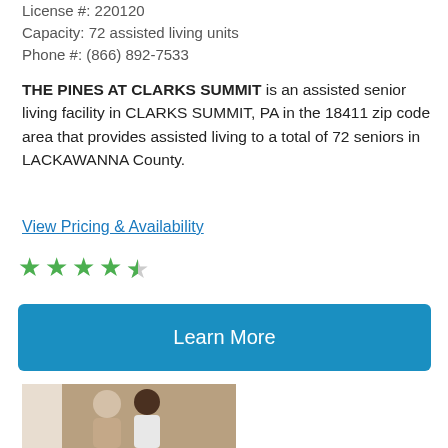License #: 220120
Capacity: 72 assisted living units
Phone #: (866) 892-7533
THE PINES AT CLARKS SUMMIT is an assisted senior living facility in CLARKS SUMMIT, PA in the 18411 zip code area that provides assisted living to a total of 72 seniors in LACKAWANNA County.
View Pricing & Availability
[Figure (other): 4.5 star rating shown with green filled stars]
[Figure (other): Learn More button in blue]
[Figure (photo): Photo of an elderly woman and a caregiver smiling together in a hallway]